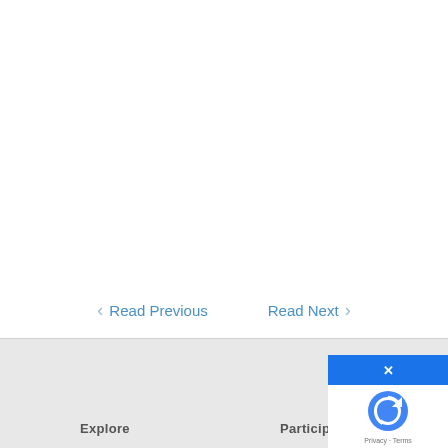Read Previous
Read Next
Explore
Participate
[Figure (other): reCAPTCHA widget with close button (x) showing reCAPTCHA logo and Privacy - Terms text]